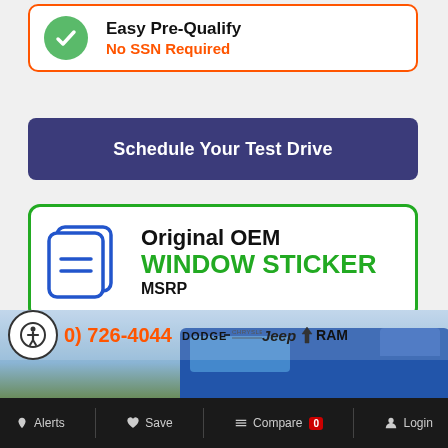[Figure (infographic): Easy Pre-Qualify button with green check circle and orange border. Text: 'Easy Pre-Qualify' in black bold, 'No SSN Required' in orange bold.]
[Figure (infographic): Dark purple button: 'Schedule Your Test Drive' in white bold text.]
[Figure (infographic): Original OEM Window Sticker badge with green border, blue document icon. Text: 'Original OEM' in black bold, 'WINDOW STICKER' in green bold, 'MSRP' in black.]
[Figure (logo): AutoCheck from Experian logo in a blue-bordered white box.]
[Figure (infographic): Dealership banner with accessibility icon, phone number '0) 726-4044' in orange, DODGE, Chrysler, Jeep, RAM brand logos. Blue truck visible at bottom.]
Alerts   Save   Compare 0   Login